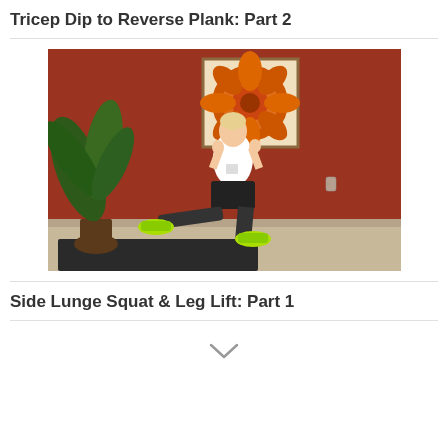Tricep Dip to Reverse Plank: Part 2
[Figure (photo): A person performing a side lunge squat exercise in a room with a red/terracotta wall, a plant in the corner, and a floral painting on the wall. The person is wearing a white shirt, black shorts, and neon green shoes, with arms raised and one leg extended to the side.]
Side Lunge Squat & Leg Lift: Part 1